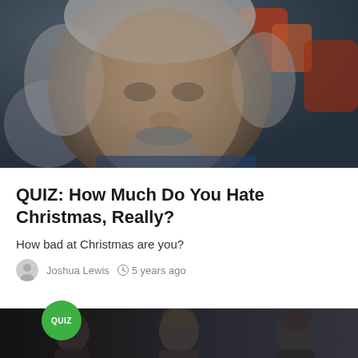[Figure (photo): Close-up photo of a middle-aged man with grey hair and grey goatee, looking down with a slightly displeased expression, colorful toys visible in background]
QUIZ: How Much Do You Hate Christmas, Really?
How bad at Christmas are you?
Joshua Lewis  5 years ago
[Figure (photo): Dark photo showing three young men side by side, with a green QUIZ badge overlay]